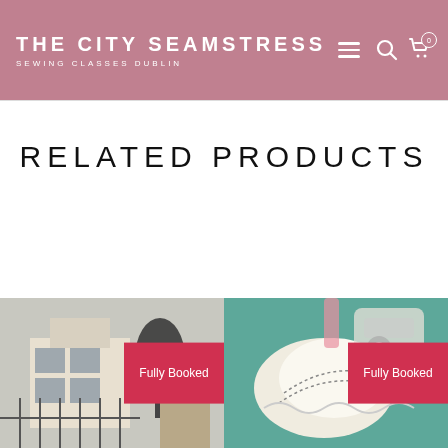THE CITY SEAMSTRESS — SEWING CLASSES DUBLIN
RELATED PRODUCTS
[Figure (photo): Product card image on left showing a window/fence with plants, with a red 'Fully Booked' overlay badge]
[Figure (photo): Product card image on right showing sewing/fabric with lace trim on a teal surface, with a red 'Fully Booked' overlay badge]